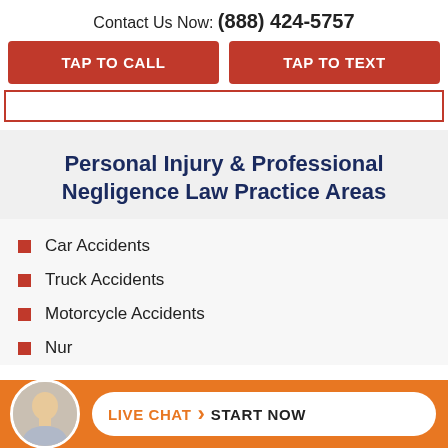Contact Us Now: (888) 424-5757
TAP TO CALL
TAP TO TEXT
Personal Injury & Professional Negligence Law Practice Areas
Car Accidents
Truck Accidents
Motorcycle Accidents
Nursing Home Abuse & Accidents
LIVE CHAT  START NOW